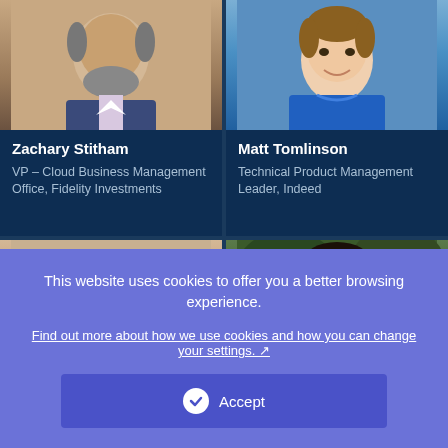[Figure (photo): Headshot of Zachary Stitham, man with gray beard in plaid blazer]
Zachary Stitham
VP – Cloud Business Management Office, Fidelity Investments
[Figure (photo): Headshot of Matt Tomlinson, young man in blue sweatshirt smiling]
Matt Tomlinson
Technical Product Management Leader, Indeed
[Figure (photo): Headshot of older bald man]
[Figure (photo): Headshot of man with beard outdoors]
This website uses cookies to offer you a better browsing experience.
Find out more about how we use cookies and how you can change your settings.
Accept